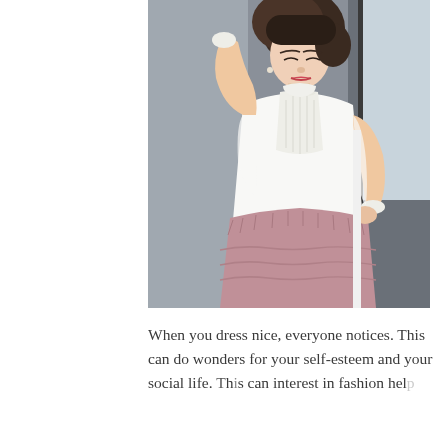[Figure (photo): A young Asian woman wearing a white lace blouse with long sheer sleeves and a bow neckline, paired with a dusty rose/pink textured skirt. She is posed with one hand raised near her head, looking downward, against a dark window background.]
When you dress nice, everyone notices. This can do wonders for your self-esteem and your social life. This can interest in fashion help...